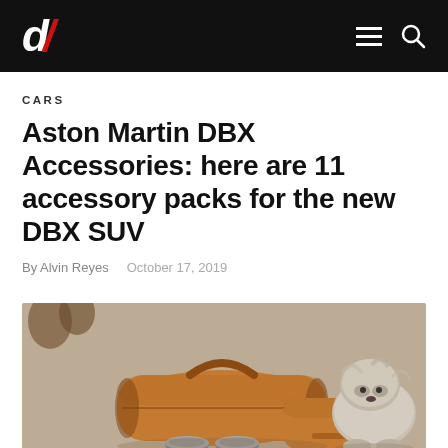d/ [logo] with hamburger menu and search icon
CARS
Aston Martin DBX Accessories: here are 11 accessory packs for the new DBX SUV
By Alvin Reyes   October 17, 2019
[Figure (photo): Photo of tan/brown leather Aston Martin luggage set with dog bowls and a fluffy grey dog beside it, on a sandy/concrete surface]